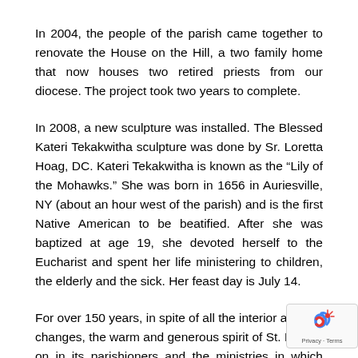In 2004, the people of the parish came together to renovate the House on the Hill, a two family home that now houses two retired priests from our diocese. The project took two years to complete.
In 2008, a new sculpture was installed. The Blessed Kateri Tekakwitha sculpture was done by Sr. Loretta Hoag, DC. Kateri Tekakwitha is known as the “Lily of the Mohawks.” She was born in 1656 in Auriesville, NY (about an hour west of the parish) and is the first Native American to be beatified. After she was baptized at age 19, she devoted herself to the Eucharist and spent her life ministering to children, the elderly and the sick. Her feast day is July 14.
For over 150 years, in spite of all the interior and exterior changes, the warm and generous spirit of St. Mary’s lives on in its parishioners and the ministries in which they